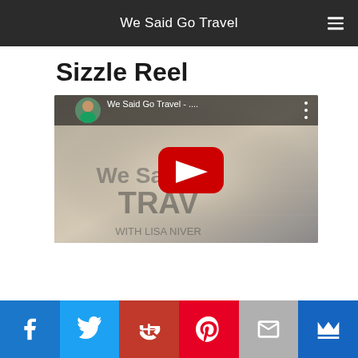We Said Go Travel
Sizzle Reel
[Figure (screenshot): YouTube video embed thumbnail for 'We Said Go Travel' showing a woman in a teal top, the YouTube play button overlay, and text reading 'We Said Go Travel - ...' and 'WITH LISA NIVER']
Social share bar: Facebook, Twitter, Google+, Pinterest, Email, Crown